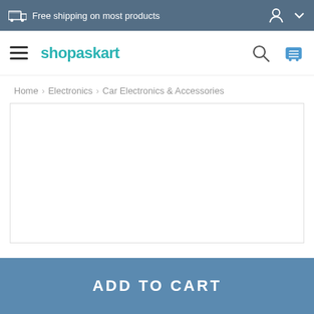Free shipping on most products
[Figure (logo): shopaskart logo with hamburger menu, search icon, and cart icon navigation bar]
Home › Electronics › Car Electronics & Accessories
[Figure (photo): Product image area — white/blank rectangle with light border]
ADD TO CART